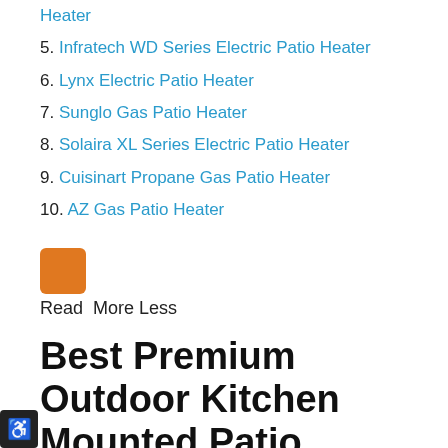Heater
5. Infratech WD Series Electric Patio Heater
6. Lynx Electric Patio Heater
7. Sunglo Gas Patio Heater
8. Solaira XL Series Electric Patio Heater
9. Cuisinart Propane Gas Patio Heater
10. AZ Gas Patio Heater
[Figure (other): Orange square toggle button]
Read  More Less
Best Premium Outdoor Kitchen Mounted Patio Heaters
When spending premium money on a patio heater, you want to know you're getting the best of the best. These are the patio heaters we believe will